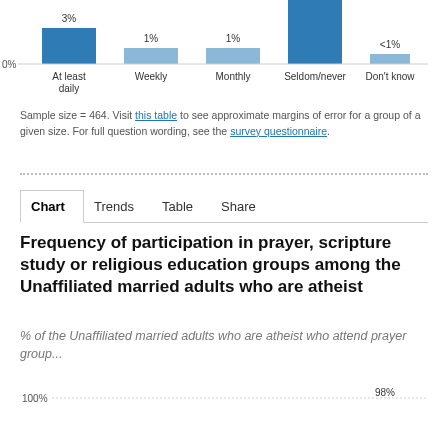[Figure (bar-chart): Frequency of participation in prayer/scripture (partial, top)]
Sample size = 464. Visit this table to see approximate margins of error for a group of a given size. For full question wording, see the survey questionnaire.
Chart | Trends | Table | Share
Frequency of participation in prayer, scripture study or religious education groups among the Unaffiliated married adults who are atheist
% of the Unaffiliated married adults who are atheist who attend prayer group...
[Figure (bar-chart): Frequency of participation (bottom partial)]